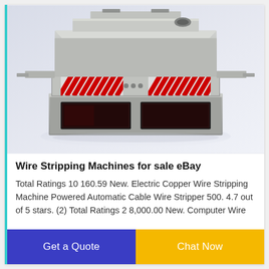[Figure (photo): 3D rendering of an industrial wire stripping machine — a large rectangular gray metal machine with red and white striped safety markings and two dark display panels on the front base]
Wire Stripping Machines for sale eBay
Total Ratings 10 160.59 New. Electric Copper Wire Stripping Machine Powered Automatic Cable Wire Stripper 500. 4.7 out of 5 stars. (2) Total Ratings 2 8,000.00 New. Computer Wire
Get a Quote
Chat Now